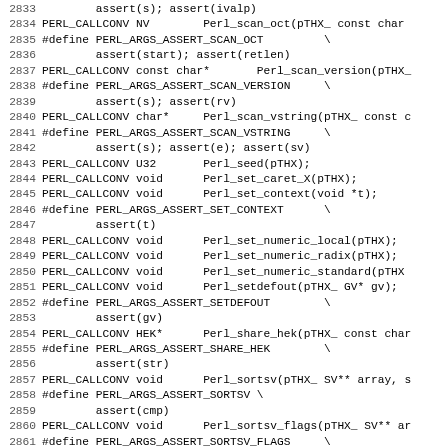Code listing lines 2833-2865 showing Perl API declarations and PERL_ARGS_ASSERT macros